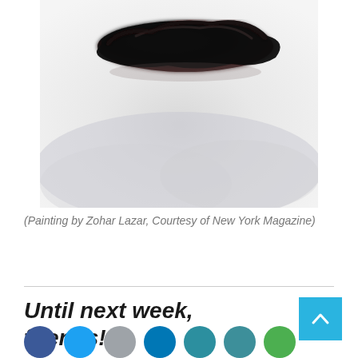[Figure (illustration): Painting of a dark black irregular blob/shape floating against a light grey-white misty background]
(Painting by Zohar Lazar, Courtesy of New York Magazine)
Until next week, friends!